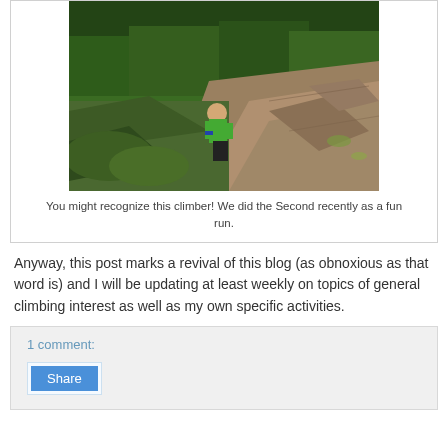[Figure (photo): Person in green jacket climbing a rocky slope with evergreen trees in the background]
You might recognize this climber! We did the Second recently as a fun run.
Anyway, this post marks a revival of this blog (as obnoxious as that word is) and I will be updating at least weekly on topics of general climbing interest as well as my own specific activities.
1 comment:
Share